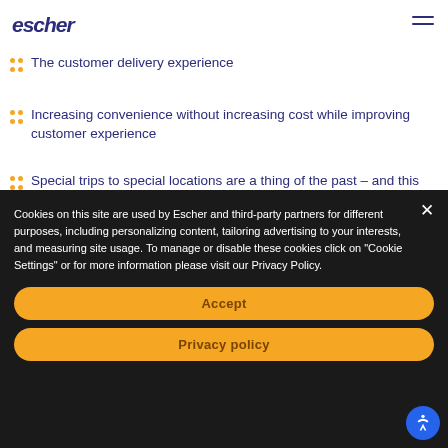escher
...of alcohol, drugs, and high value items
The customer delivery experience
Increasing convenience without increasing cost while improving customer experience
Special trips to special locations are a thing of the past – and this might have implications for the post
Cookies on this site are used by Escher and third-party partners for different purposes, including personalizing content, tailoring advertising to your interests, and measuring site usage. To manage or disable these cookies click on "Cookie Settings" or for more information please visit our Privacy Policy.
Accept
Privacy policy